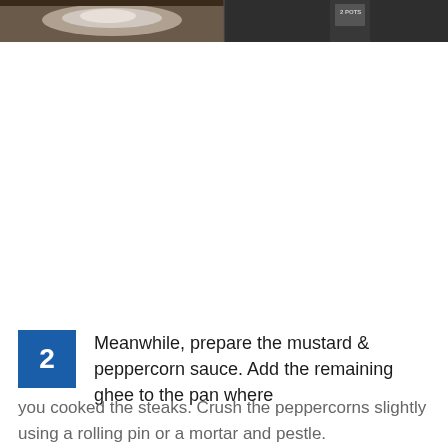[Figure (photo): Top portion of a cooking photo strip showing two side-by-side images: left shows a metallic bowl or pan with light reflection, right shows a dark bottle or container with partial label visible.]
2  Meanwhile, prepare the mustard & peppercorn sauce. Add the remaining ghee to the pan where you cooked the steaks. Crush the peppercorns slightly using a rolling pin or a mortar and pestle.